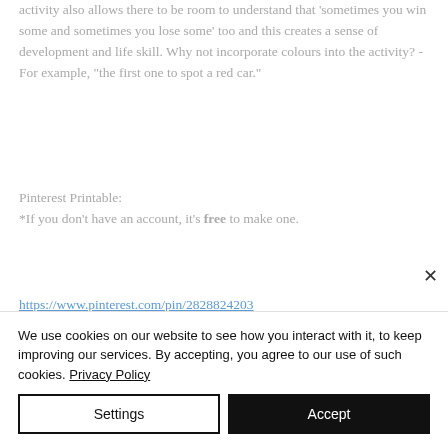activity also allows there to be room to understand that 'sometimes you win some and sometimes you lose some' too and this creates a sense of development and life skill. Why not incorporate colours into the activity? - For example, "the first one to spot a red car."
Pinterest Printable:
*If you don't have an account, it's free to make one.
https://www.pinterest.com/pin/282882420323793007/
https://www.pinterest.com/pin/112730796907834375/
We use cookies on our website to see how you interact with it, to keep improving our services. By accepting, you agree to our use of such cookies. Privacy Policy